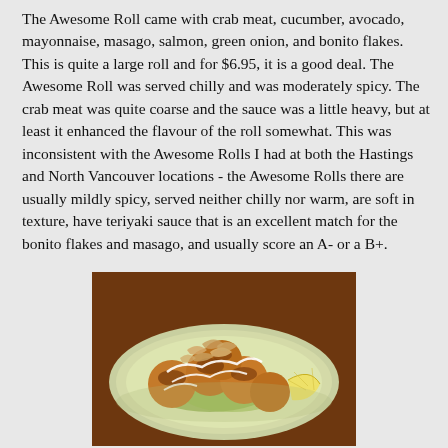The Awesome Roll came with crab meat, cucumber, avocado, mayonnaise, masago, salmon, green onion, and bonito flakes. This is quite a large roll and for $6.95, it is a good deal. The Awesome Roll was served chilly and was moderately spicy. The crab meat was quite coarse and the sauce was a little heavy, but at least it enhanced the flavour of the roll somewhat. This was inconsistent with the Awesome Rolls I had at both the Hastings and North Vancouver locations - the Awesome Rolls there are usually mildly spicy, served neither chilly nor warm, are soft in texture, have teriyaki sauce that is an excellent match for the bonito flakes and masago, and usually score an A- or a B+.
[Figure (photo): A plate of takoyaki (Japanese octopus balls) topped with sauce, mayonnaise drizzle, and bonito flakes, served on a white plate with a lemon wedge, on a wooden table.]